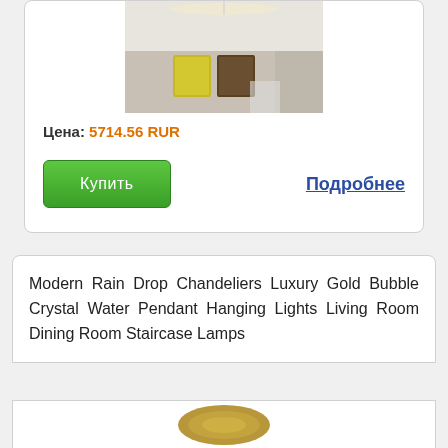[Figure (photo): Product photo of a chandelier installed on a ceiling in a living room, with decorative artwork on the wall]
Цена: 5714.56 RUR
Купить
Подробнее
Modern Rain Drop Chandeliers Luxury Gold Bubble Crystal Water Pendant Hanging Lights Living Room Dining Room Staircase Lamps
[Figure (photo): Product photo of a gold oval/circle shaped ceiling lamp]